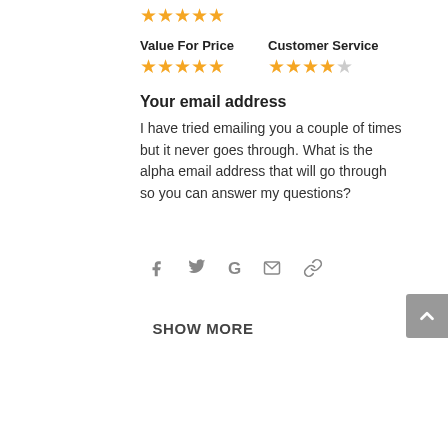[Figure (other): Five orange star rating icons in a row at the top]
Value For Price
Customer Service
[Figure (other): Five orange stars (Value For Price rating - 5/5)]
[Figure (other): Four and a half orange stars (Customer Service rating - 4/5 with one empty star)]
Your email address
I have tried emailing you a couple of times but it never goes through. What is the alpha email address that will go through so you can answer my questions?
[Figure (other): Social sharing icons: Facebook, Twitter, Google, Email, Link]
SHOW MORE